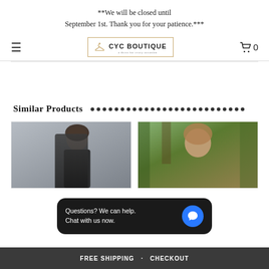**We will be closed until September 1st. Thank you for your patience.***
[Figure (screenshot): CYC Boutique website navigation bar with hamburger menu icon on the left, CYC Boutique logo in the center (hanger icon with text in a gold border box), and shopping cart icon with 0 count on the right.]
Similar Products
[Figure (photo): Two product thumbnail photos side by side. Left: woman in a black off-shoulder dress against a gray background. Right: woman with long hair in an outdoor setting with trees.]
Questions? We can help. Chat with us now.
FREE SHIPPING ... CHECKOUT